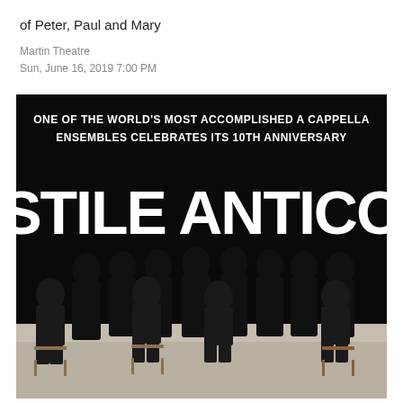of Peter, Paul and Mary
Martin Theatre
Sun, June 16, 2019 7:00 PM
[Figure (photo): Promotional poster for Stile Antico a cappella ensemble. Black background with white bold text reading 'ONE OF THE WORLD'S MOST ACCOMPLISHED A CAPPELLA ENSEMBLES CELEBRATES ITS 10TH ANNIVERSARY' at the top, large white bold text 'STILE ANTICO' in the middle, and a group photo of approximately 13 singers dressed in black at the bottom.]